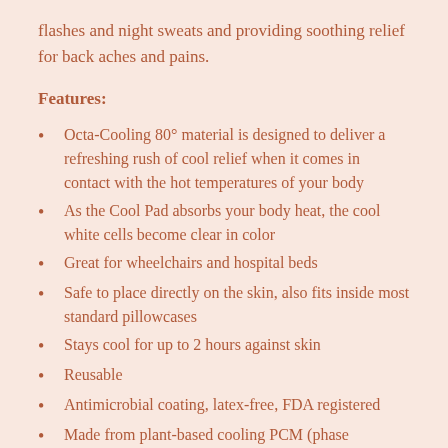flashes and night sweats and providing soothing relief for back aches and pains.
Features:
Octa-Cooling 80° material is designed to deliver a refreshing rush of cool relief when it comes in contact with the hot temperatures of your body
As the Cool Pad absorbs your body heat, the cool white cells become clear in color
Great for wheelchairs and hospital beds
Safe to place directly on the skin, also fits inside most standard pillowcases
Stays cool for up to 2 hours against skin
Reusable
Antimicrobial coating, latex-free, FDA registered
Made from plant-based cooling PCM (phase